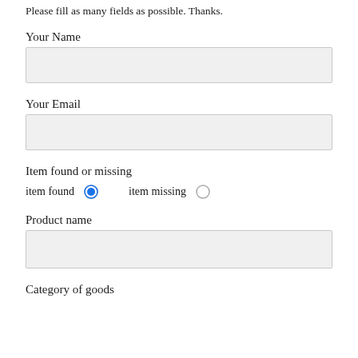Please fill as many fields as possible. Thanks.
Your Name
[Figure (other): Empty text input field for Your Name]
Your Email
[Figure (other): Empty text input field for Your Email]
Item found or missing
item found (selected radio button)
item missing (unselected radio button)
Product name
[Figure (other): Empty text input field for Product name]
Category of goods